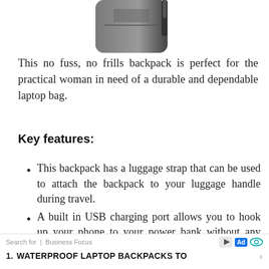[Figure (photo): Partial view of a dark gray/black backpack at the top of the page, partially cropped]
This no fuss, no frills backpack is perfect for the practical woman in need of a durable and dependable laptop bag.
Key features:
This backpack has a luggage strap that can be used to attach the backpack to your luggage handle during travel.
A built in USB charging port allows you to hook up your phone to your power bank without any trouble.
Search for | Business Focus  [Ad icons]  1. WATERPROOFT LAPTOP BACKPACKS TO >